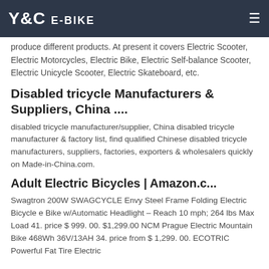Y&C E-BIKE
produce different products. At present it covers Electric Scooter, Electric Motorcycles, Electric Bike, Electric Self-balance Scooter, Electric Unicycle Scooter, Electric Skateboard, etc.
Disabled tricycle Manufacturers & Suppliers, China ....
disabled tricycle manufacturer/supplier, China disabled tricycle manufacturer & factory list, find qualified Chinese disabled tricycle manufacturers, suppliers, factories, exporters & wholesalers quickly on Made-in-China.com.
Adult Electric Bicycles | Amazon.c...
Swagtron 200W SWAGCYCLE Envy Steel Frame Folding Electric Bicycle e Bike w/Automatic Headlight – Reach 10 mph; 264 lbs Max Load 41. price $ 999. 00. $1,299.00 NCM Prague Electric Mountain Bike 468Wh 36V/13AH 34. price from $ 1,299. 00. ECOTRIC Powerful Fat Tire Electric